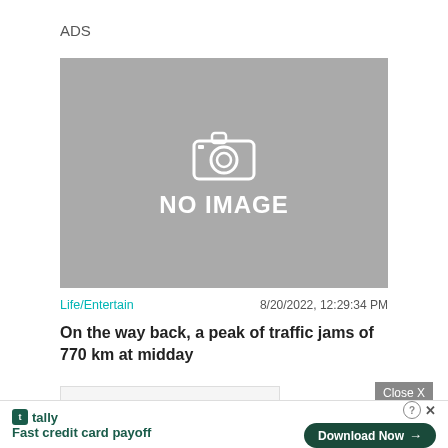ADS
[Figure (photo): Gray placeholder image with camera icon and NO IMAGE text]
Life/Entertain   8/20/2022, 12:29:34 PM
On the way back, a peak of traffic jams of 770 km at midday
Close X
[Figure (screenshot): Tally Fast credit card payoff advertisement banner with Download Now button]